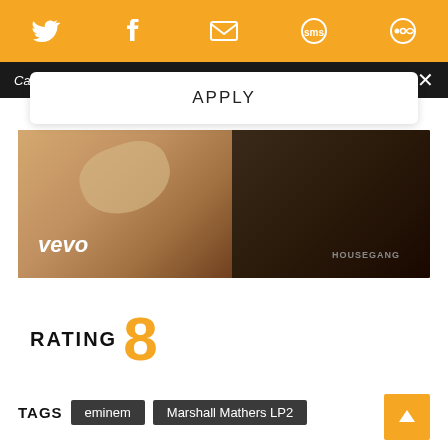Social icons bar (Twitter, Facebook, Email, SMS, other)
Call for Music Writers
APPLY
[Figure (screenshot): Vevo music video thumbnail showing close-up of a person's face and another person in a HOUSEGANG t-shirt, with vevo logo in bottom left]
RATING 8
TAGS  eminem  Marshall Mathers LP2